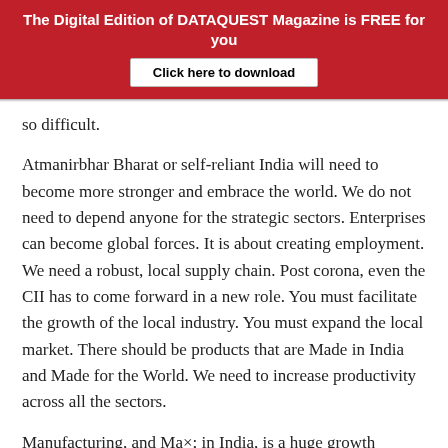The Digital Edition of DATAQUEST Magazine is FREE for you
Click here to download
so difficult.
Atmanirbhar Bharat or self-reliant India will need to become more stronger and embrace the world. We do not need to depend anyone for the strategic sectors. Enterprises can become global forces. It is about creating employment. We need a robust, local supply chain. Post corona, even the CII has to come forward in a new role. You must facilitate the growth of the local industry. You must expand the local market. There should be products that are Made in India and Made for the World. We need to increase productivity across all the sectors.
Manufacturing, and Ma×; in India, is a huge growth